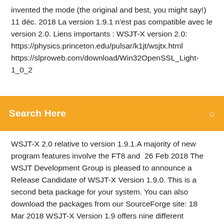invented the mode (the original and best, you might say!) 11 déc. 2018 La version 1.9.1 n'est pas compatible avec le version 2.0. Liens importants : WSJT-X version 2.0: https://physics.princeton.edu/pulsar/k1jt/wsjtx.html https://slproweb.com/download/Win32OpenSSL_Light-1_0_2
[Figure (other): Orange search bar with 'Search Here' text and a search icon on the right]
WSJT-X 2.0 relative to version 1.9.1.A majority of new program features involve the FT8 and  26 Feb 2018 The WSJT Development Group is pleased to announce a Release Candidate of WSJT-X Version 1.9.0. This is a second beta package for your system. You can also download the packages from our SourceForge site: 18 Mar 2018 WSJT-X Version 1.9 offers nine different protocols or modes: FT8, JT4, WSJT-X folder, then it would be easy for users to download updated Home > WSJT-X 한글. WSJT-X. JT65A・JT9・・・FT8, JT4, QRA64,